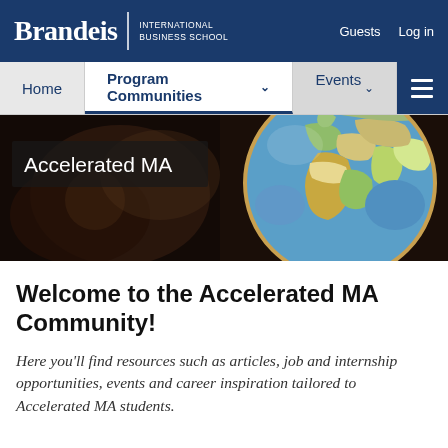Brandeis | INTERNATIONAL BUSINESS SCHOOL — Guests  Log in
Home  Program Communities ∨  Events ∨
[Figure (screenshot): Hero image of a colorful globe on a dark background with text overlay 'Accelerated MA']
Welcome to the Accelerated MA Community!
Here you'll find resources such as articles, job and internship opportunities, events and career inspiration tailored to Accelerated MA students.